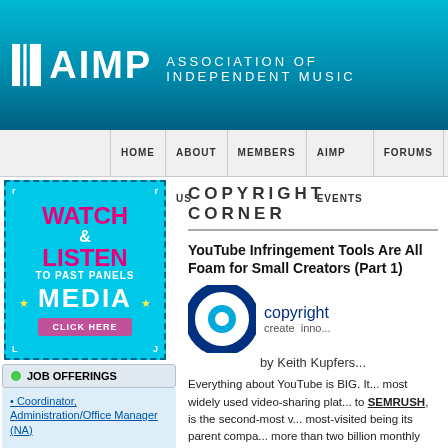[Figure (logo): AIMP Association of Independent Music logo on teal/blue gradient header]
HOME  ABOUT US  MEMBERS  AIMP EVENTS  FORUMS  EDUCA...
[Figure (illustration): Watch & Listen to Past Panels - Media - Click Here promotional banner in cyan/pink]
JOB OFFERINGS
• Coordinator, Administration/Office Manager (NA)
• Manager, Visual + Media Rights (LA)
• Creative Director – Film & TV Sync (LA)
• Royalty Accountant (LA)
COPYRIGHT CORNER
YouTube Infringement Tools Are All Foam for Small Creators (Part 1)
[Figure (logo): Copyright Alliance logo - blue circular C design with create innov... text, by Keith Kupfers...]
Everything about YouTube is BIG. It... most widely used video-sharing plat... to SEMRUSH, is the second-most v... most-visited being its parent compa... more than two billion monthly users...